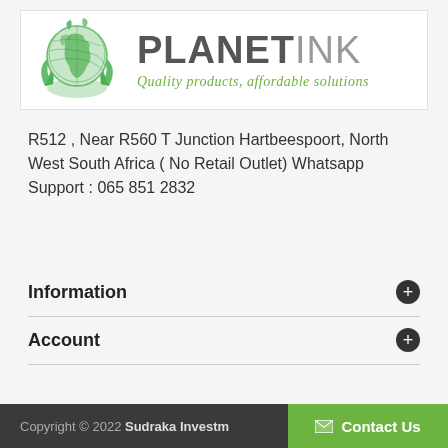[Figure (logo): Planet Ink logo: green globe with leaves on the left, PLANETINK brand name in bold on the right with tagline 'Quality products, affordable solutions' in green cursive below]
R512 , Near R560 T Junction Hartbeespoort, North West South Africa ( No Retail Outlet) Whatsapp Support : 065 851 2832
Information
Account
Copyright © 2022 Sudraka Investm  Contact Us